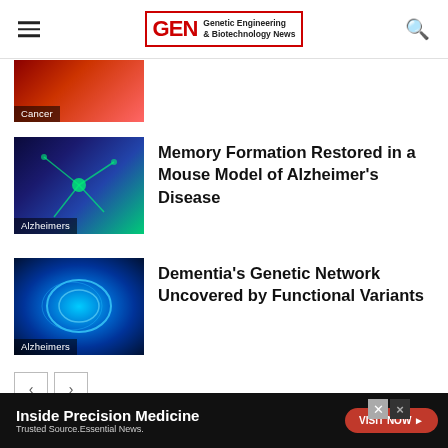GEN Genetic Engineering & Biotechnology News
[Figure (photo): Partial image of cancer-related article thumbnail with red/dark tones, labeled 'Cancer']
[Figure (photo): Fluorescence microscopy image of neurons in blue and green tones, labeled 'Alzheimers']
Memory Formation Restored in a Mouse Model of Alzheimer's Disease
[Figure (photo): Glowing brain scan image with blue tones, labeled 'Alzheimers']
Dementia's Genetic Network Uncovered by Functional Variants
LEAVE A REPLY